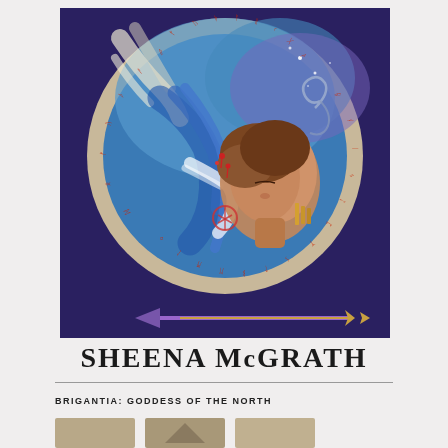[Figure (illustration): A circular painting with runic border showing a figure with flowing blue hair and a face looking upward, with swirling celestial elements in blues and purples. Below the circle is an arrow pointing left. The overall background is deep navy blue. The circular border contains red runic or ogham script symbols.]
SHEENA McGRATH
BRIGANTIA: GODDESS OF THE NORTH
[Figure (photo): Three small rectangular thumbnail images visible at bottom of page, partially cropped]